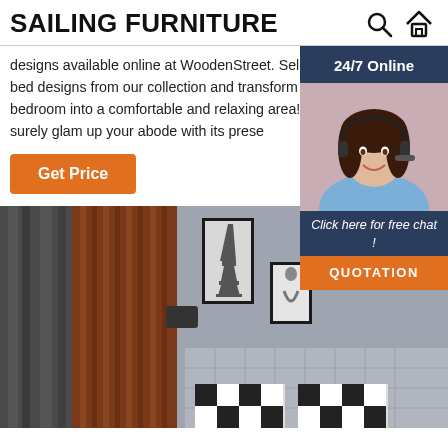SAILING FURNITURE
designs available online at WoodenStreet. Select the latest wooden bed designs from our collection and transform the look of your bedroom into a comfortable and relaxing area! The m... designs can surely glam up your abode with its presen...
Get Price
[Figure (photo): 24/7 Online chat widget with a smiling female customer service agent wearing a headset, on a dark navy background. Below: 'Click here for free chat!' and an orange 'QUOTATION' button.]
[Figure (photo): Bedroom interior with gray walls, dark curtains on left, brown wood-panel wall, framed Eiffel Tower artwork, gray upholstered headboard with grid pattern, and black-and-white checkered pillows.]